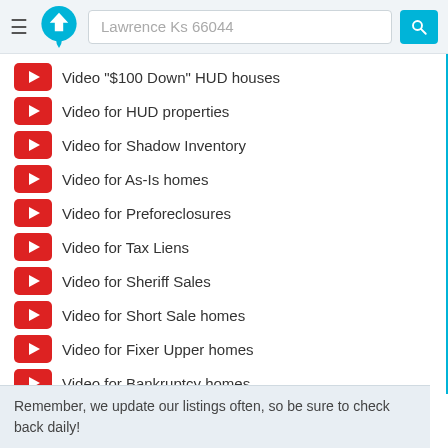Lawrence Ks 66044
Video "$100 Down" HUD houses
Video for HUD properties
Video for Shadow Inventory
Video for As-Is homes
Video for Preforeclosures
Video for Tax Liens
Video for Sheriff Sales
Video for Short Sale homes
Video for Fixer Upper homes
Video for Bankruptcy homes
Video for City Owned homes
Video for Rent to Own homes
Remember, we update our listings often, so be sure to check back daily!